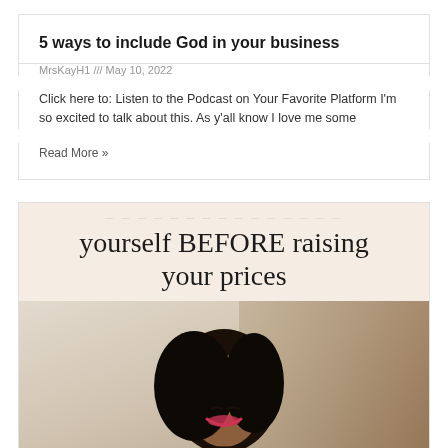5 ways to include God in your business
MrsKayH1 /// May 10, 2022
Click here to: Listen to the Podcast on Your Favorite Platform I'm so excited to talk about this. As y'all know I love me some
Read More »
[Figure (illustration): Promotional blog card image showing text 'yourself BEFORE raising your prices' over a warm beige background, with a photo of a smiling Black woman below]
yourself BEFORE raising your prices